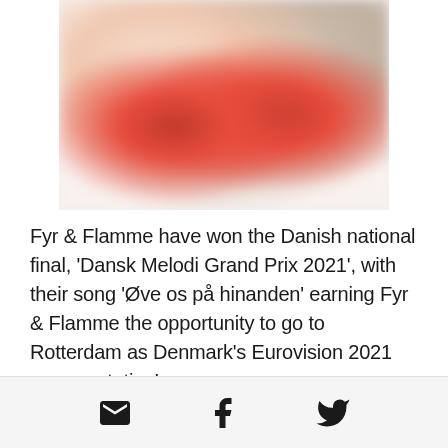[Figure (photo): Blurred photo of two people (Fyr & Flamme) wearing red and white outfits, likely Danish flags incorporated into clothing]
Fyr & Flamme have won the Danish national final, 'Dansk Melodi Grand Prix 2021', with their song 'Øve os på hinanden' earning Fyr & Flamme the opportunity to go to Rotterdam as Denmark's Eurovision 2021 representative!
Social share icons: email, Facebook, Twitter